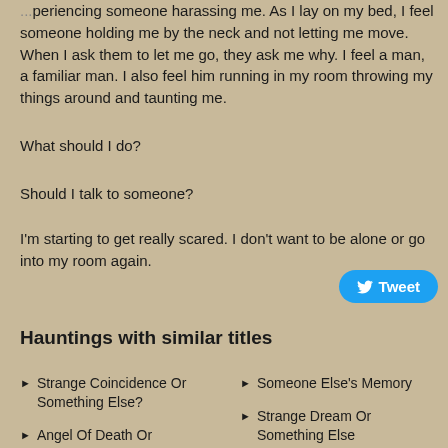...periencing someone harassing me. As I lay on my bed, I feel someone holding me by the neck and not letting me move. When I ask them to let me go, they ask me why. I feel a man, a familiar man. I also feel him running in my room throwing my things around and taunting me.
What should I do?
Should I talk to someone?
I'm starting to get really scared. I don't want to be alone or go into my room again.
Hauntings with similar titles
Strange Coincidence Or Something Else?
Angel Of Death Or Something Else?
Someone Else's Memory
Strange Dream Or Something Else
Grandad Or Something